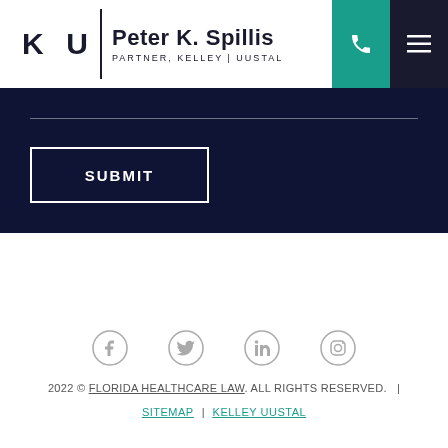[Figure (logo): K|U Peter K. Spillis, Partner Kelley | Uustal law firm logo with phone and menu icons in header]
[Figure (other): Dark navy form area with horizontal line and SUBMIT button]
[Figure (other): Social media icons: Facebook, Twitter, LinkedIn, Instagram]
2022 © FLORIDA HEALTHCARE LAW. ALL RIGHTS RESERVED. | SITEMAP | KELLEY UUSTAL